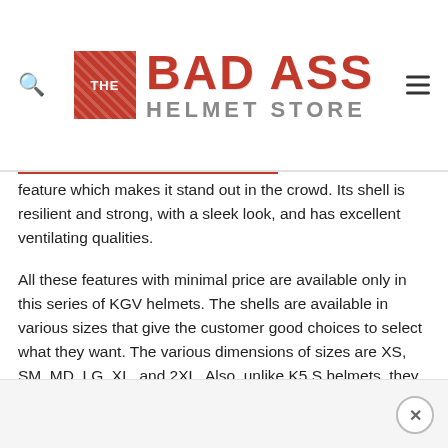[Figure (logo): The Bad Ass Helmet Store logo with red hatched square on the left and bold red 'BAD ASS' text with grey 'HELMET STORE' text on the right]
feature which makes it stand out in the crowd. Its shell is resilient and strong, with a sleek look, and has excellent ventilating qualities.
All these features with minimal price are available only in this series of KGV helmets. The shells are available in various sizes that give the customer good choices to select what they want. The various dimensions of sizes are XS, SM, MD, LG, XL, and 2XL. Also, unlike K5 S helmets, they are only available for men.